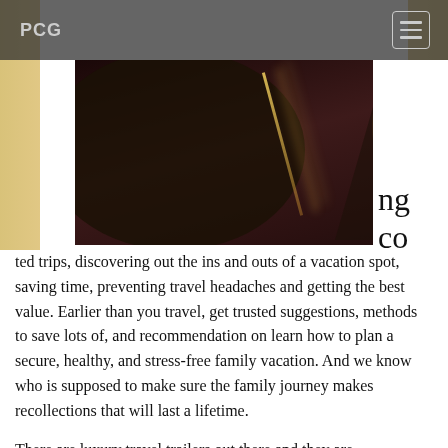PCG
[Figure (photo): Aerial or overhead photo of a road at night with light streaks from vehicles, surrounded by dark foliage. Dark reddish-brown tones.]
ng co mp lica ted trips, discovering out the ins and outs of a vacation spot, saving time, preventing travel headaches and getting the best value. Earlier than you travel, get trusted suggestions, methods to save lots of, and recommendation on learn how to plan a secure, healthy, and stress-free family vacation. And we know who is supposed to make sure the family journey makes recollections that will last a lifetime.
There are luxury travel trailers out there and they are